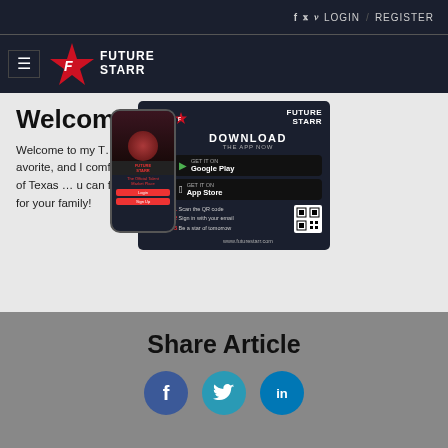f  t  v  LOGIN  /  REGISTER
[Figure (logo): Future Starr logo with red star icon and hamburger menu]
Welcome...!
Welcome to my T... rene Herrera. I love tacos, queso... avorite, and I comfort myself wi... m here to share my love of Texas ... u can feel excited to get into ... ooked meals for your family!
[Figure (infographic): Future Starr app download popup showing phone mockup, DOWNLOAD THE APP NOW heading, Google Play and App Store buttons, QR code, steps, and www.futurestarr.com URL]
Share Article
[Figure (infographic): Social share icons: Facebook (blue circle with f), Twitter (teal circle with bird), LinkedIn (blue circle with in)]